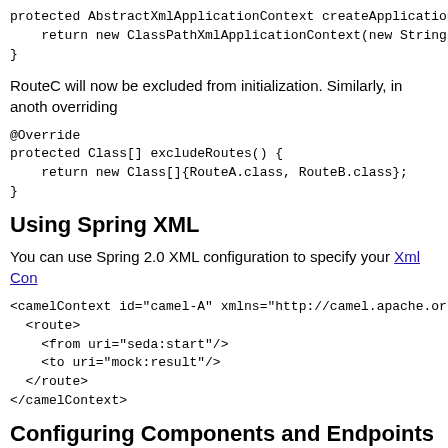protected AbstractXmlApplicationContext createApplicationContext
    return new ClassPathXmlApplicationContext(new String
}
RouteC will now be excluded from initialization. Similarly, in another overriding
@Override
protected Class[] excludeRoutes() {
    return new Class[]{RouteA.class, RouteB.class};
}
Using Spring XML
You can use Spring 2.0 XML configuration to specify your XmlCon
<camelContext id="camel-A" xmlns="http://camel.apache.or
  <route>
    <from uri="seda:start"/>
    <to uri="mock:result"/>
  </route>
</camelContext>
Configuring Components and Endpoints
You can configure your Component or Endpoint instances in your Sp